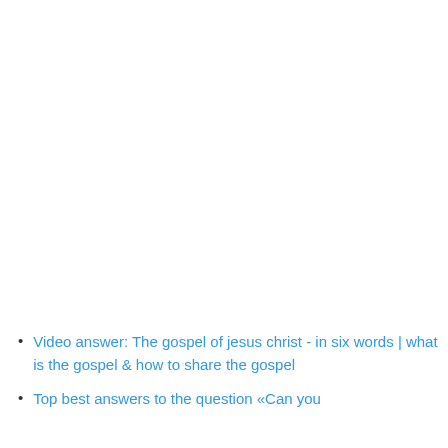Video answer: The gospel of jesus christ - in six words | what is the gospel & how to share the gospel
Top best answers to the question «Can you